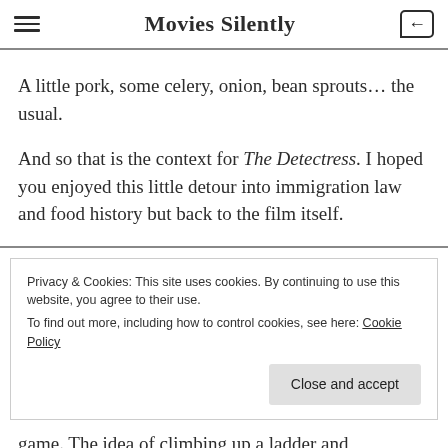Movies Silently
A little pork, some celery, onion, bean sprouts… the usual.
And so that is the context for The Detectress. I hoped you enjoyed this little detour into immigration law and food history but back to the film itself.
Privacy & Cookies: This site uses cookies. By continuing to use this website, you agree to their use.
To find out more, including how to control cookies, see here: Cookie Policy
game. The idea of climbing up a ladder and